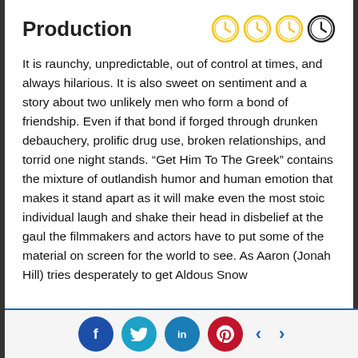Production
It is raunchy, unpredictable, out of control at times, and always hilarious. It is also sweet on sentiment and a story about two unlikely men who form a bond of friendship. Even if that bond if forged through drunken debauchery, prolific drug use, broken relationships, and torrid one night stands. “Get Him To The Greek” contains the mixture of outlandish humor and human emotion that makes it stand apart as it will make even the most stoic individual laugh and shake their head in disbelief at the gaul the filmmakers and actors have to put some of the material on screen for the world to see. As Aaron (Jonah Hill) tries desperately to get Aldous Snow